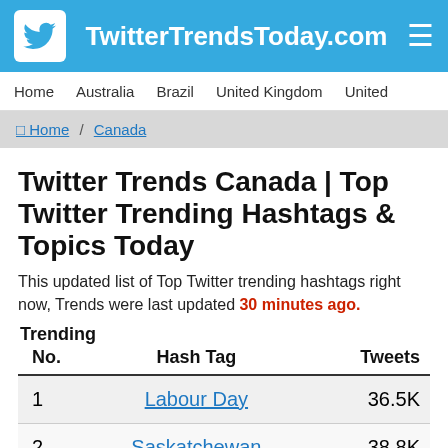TwitterTrendsToday.com
Home   Australia   Brazil   United Kingdom   United
🏠 Home / Canada
Twitter Trends Canada | Top Twitter Trending Hashtags & Topics Today
This updated list of Top Twitter trending hashtags right now, Trends were last updated 30 minutes ago.
| Trending No. | Hash Tag | Tweets |
| --- | --- | --- |
| 1 | Labour Day | 36.5K |
| 2 | Saskatchewan | 38.8K |
| 3 | Chris Pine | 132.2K |